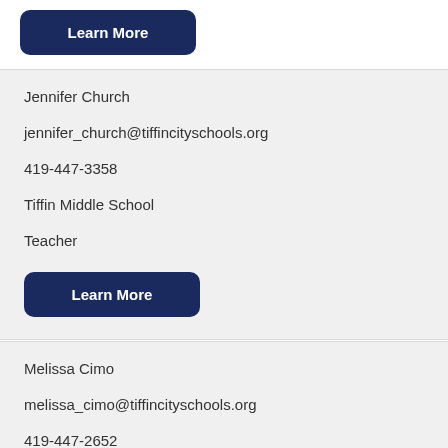Learn More
Jennifer Church
jennifer_church@tiffincityschools.org
419-447-3358
Tiffin Middle School
Teacher
Learn More
Melissa Cimo
melissa_cimo@tiffincityschools.org
419-447-2652
Krout 2-3
Teacher